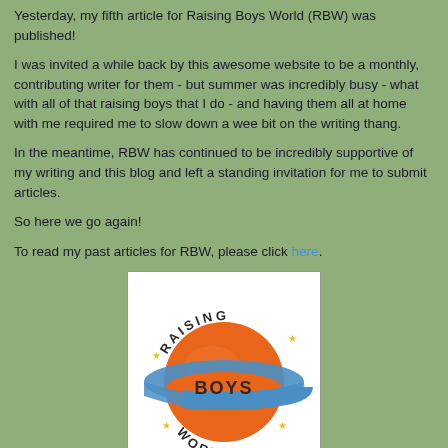Yesterday, my fifth article for Raising Boys World (RBW) was published!
I was invited a while back by this awesome website to be a monthly, contributing writer for them - but summer was incredibly busy - what with all of that raising boys that I do - and having them all at home with me required me to slow down a wee bit on the writing thang.
In the meantime, RBW has continued to be incredibly supportive of my writing and this blog and left a standing invitation for me to submit articles.
So here we go again!
To read my past articles for RBW, please click here.
[Figure (logo): Raising Boys World logo: orange globe with blue orbital ring and 'BOYS' text across the middle, 'RAISING' arched on top and 'WORLD' on the bottom, with small star decorations]